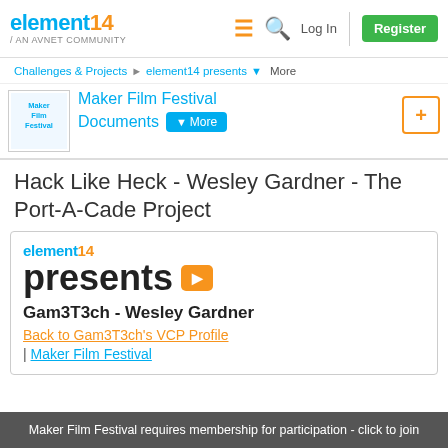element14 / AN AVNET COMMUNITY | Log In | Register
Challenges & Projects > element14 presents ∨ More
Maker Film Festival Documents
Hack Like Heck - Wesley Gardner - The Port-A-Cade Project
[Figure (screenshot): element14 presents logo with orange play button icon]
Gam3T3ch - Wesley Gardner
Back to Gam3T3ch's VCP Profile
| Maker Film Festival
Maker Film Festival requires membership for participation - click to join